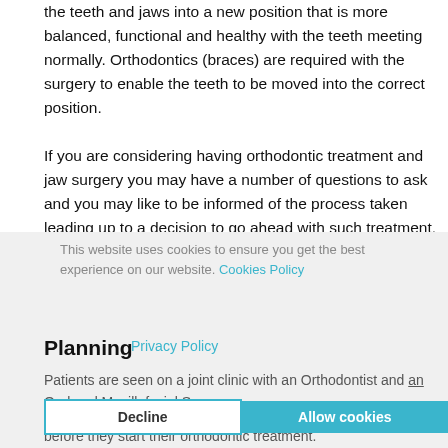the teeth and jaws into a new position that is more balanced, functional and healthy with the teeth meeting normally. Orthodontics (braces) are required with the surgery to enable the teeth to be moved into the correct position.
If you are considering having orthodontic treatment and jaw surgery you may have a number of questions to ask and you may like to be informed of the process taken leading up to a decision to go ahead with such treatment.
This website uses cookies to ensure you get the best experience on our website. Cookies Policy
Planning
Patients are seen on a joint clinic with an Orthodontist and an Oral and Maxillofacial Surgeon before they start their orthodontic treatment.